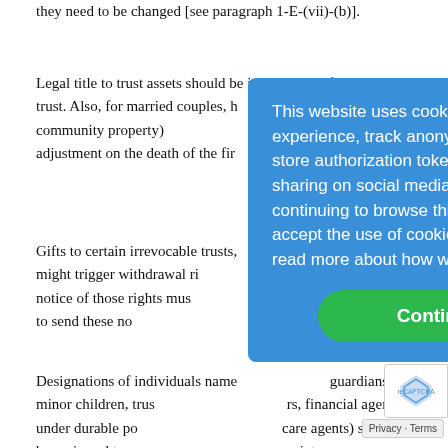they need to be changed [see paragraph 1-E-(vii)-(b)].
Legal title to trust assets should be in the name of the living trust. Also, for married couples, h... tenancy or community property) ... adjustment on the death of the firs... paragraph 8.
Gifts to certain irrevocable trusts, ... trusts, might trigger withdrawal ri... Written notice of those rights mus... notices). Failure to send these not... tax consequences.
Designations of individuals name... guardians for minor children, trus... rs, financial agents under durable po... care agents) should be reviewed to ensure that they sti... appropriate.
[Figure (other): Cookie consent overlay popup with blue background. Text reads: 'This website uses cookies to improve user experience, track anonymous site usage, store authorization tokens and permit sharing on social media networks. By continuing to browse this website you accept the use of cookies. Click here to read more about how we use cookies.' Green 'Continue' button at bottom.]